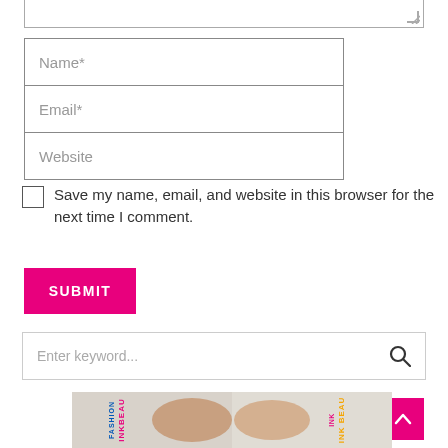[Figure (screenshot): Partial textarea at top of page with resize handle]
Name*
Email*
Website
Save my name, email, and website in this browser for the next time I comment.
SUBMIT
Enter keyword...
[Figure (photo): Two people lying down wearing white shirts with INKBEAU FASHION text printed on them]